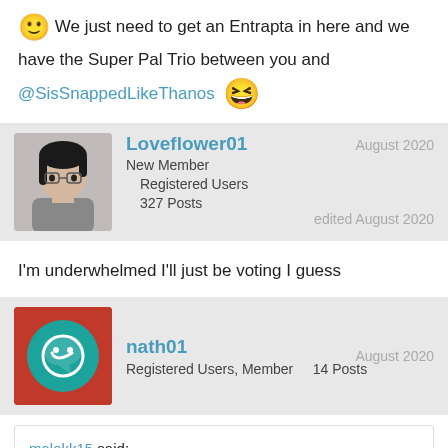😊 We just need to get an Entrapta in here and we have the Super Pal Trio between you and @SisSnappedLikeThanos 😄
Loveflower01 | New Member | Registered Users | 327 Posts | August 2020 | edited August 2020
I'm underwhelmed I'll just be voting I guess
nath01 | Registered Users, Member | 14 Posts | August 2020
malakk15 said: @Victorian @yezx Oh sorry my bad I didn't think it like that 😮 Because I only play male doll I haven't had new